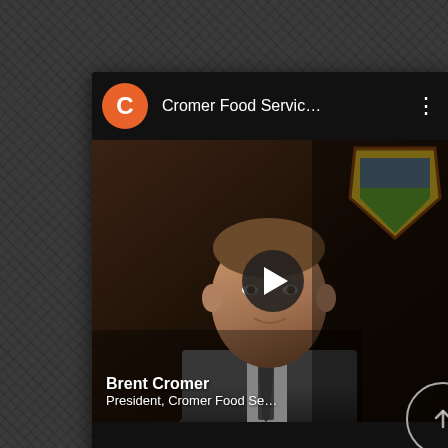[Figure (screenshot): YouTube video card screenshot on a dark textured background. Card shows an orange circle avatar with letter C, channel name 'Cromer Food Servic...', three-dot menu icon in header. Video thumbnail shows a man (Brent Cromer) in a suit with a shield/crest visible in upper right, a play button in the center. Text overlay reads 'Brent Cromer, President, Cromer Food Se...' A circular upload/share button appears at bottom-right edge of the card.]